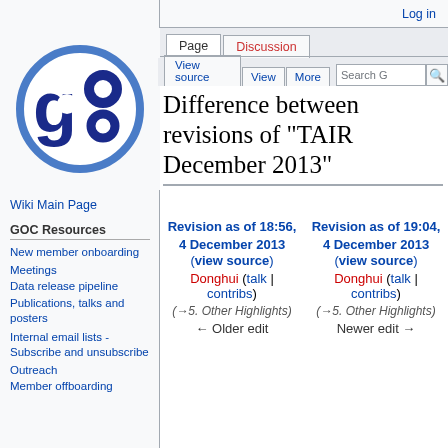Log in
[Figure (logo): GOC (Gene Ontology Consortium) circular logo with blue circle border and stylized 'go' letters in dark blue inside]
Wiki Main Page
GOC Resources
New member onboarding
Meetings
Data release pipeline
Publications, talks and posters
Internal email lists - Subscribe and unsubscribe
Outreach
Member offboarding
Difference between revisions of "TAIR December 2013"
| Revision as of 18:56, 4 December 2013 (view source) | Revision as of 19:04, 4 December 2013 (view source) |
| --- | --- |
| Donghui (talk | contribs) | Donghui (talk | contribs) |
| (→5. Other Highlights) | (→5. Other Highlights) |
| ← Older edit | Newer edit → |